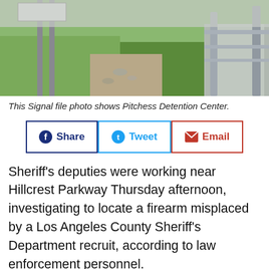[Figure (photo): Photo of Pitchess Detention Center showing fence posts, wire fencing, and green grass area]
This Signal file photo shows Pitchess Detention Center.
[Figure (infographic): Social sharing buttons: Share (Facebook), Tweet (Twitter), Email]
Sheriff's deputies were working near Hillcrest Parkway Thursday afternoon, investigating to locate a firearm misplaced by a Los Angeles County Sheriff's Department recruit, according to law enforcement personnel.
Deputy Alejandra Parra, a spokeswoman for the Sheriff's Information Bureau, confirmed that a Los Angeles County Sheriff's Department operation was